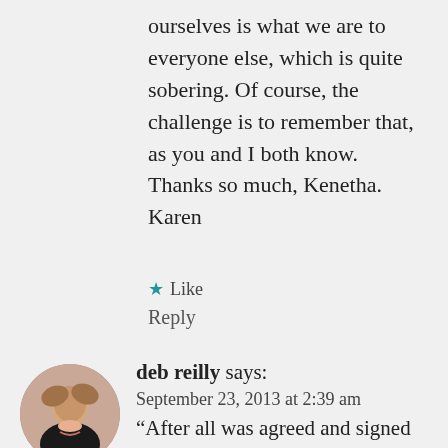ourselves is what we are to everyone else, which is quite sobering. Of course, the challenge is to remember that, as you and I both know. Thanks so much, Kenetha.
Karen
★ Like
Reply
deb reilly says:
September 23, 2013 at 2:39 am
“After all was agreed and signed